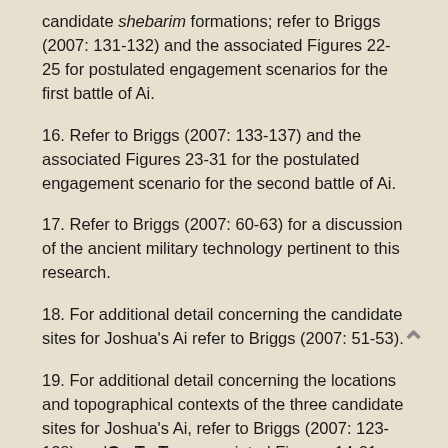candidate shebarim formations; refer to Briggs (2007: 131-132) and the associated Figures 22-25 for postulated engagement scenarios for the first battle of Ai.
16. Refer to Briggs (2007: 133-137) and the associated Figures 23-31 for the postulated engagement scenario for the second battle of Ai.
17. Refer to Briggs (2007: 60-63) for a discussion of the ancient military technology pertinent to this research.
18. For additional detail concerning the candidate sites for Joshua's Ai refer to Briggs (2007: 51-53).
19. For additional detail concerning the locations and topographical contexts of the three candidate sites for Joshua's Ai, refer to Briggs (2007: 123-128) and the associated Figures 14-21.
20. For the detailed exegesis of the biblical text in regard to the location of the encampment of the primary ambush force, refer to Briggs (2007:100-101). The combination of directional indicators in the text require that this